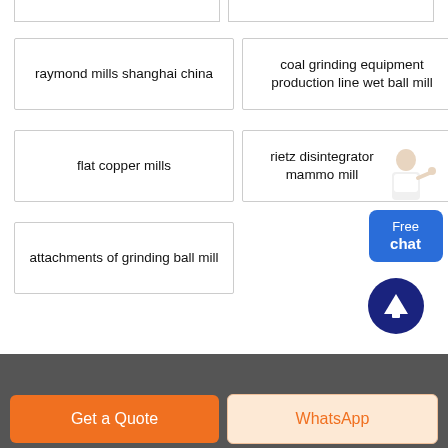raymond mills shanghai china
coal grinding equipment production line wet ball mill
flat copper mills
rietz disintegrator mammo mill
attachments of grinding ball mill
Get a Quote
WhatsApp